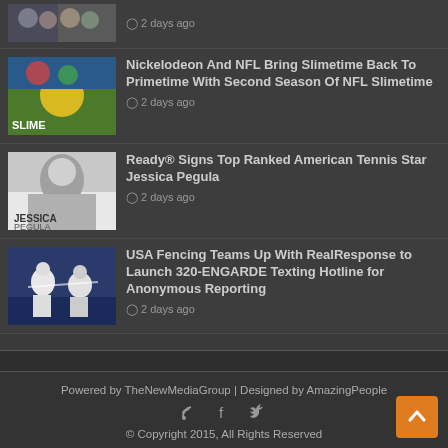2 days ago
[Figure (photo): Nickelodeon NFL Slimetime photo]
Nickelodeon And NFL Bring Slimetime Back To Primetime With Second Season Of NFL Slimetime — 2 days ago
[Figure (photo): Jessica Pegula black and white photo]
Ready® Signs Top Ranked American Tennis Star Jessica Pegula — 2 days ago
[Figure (photo): USA Fencing photo]
USA Fencing Teams Up With RealResponse to Launch 320-ENGARDE Texting Hotline for Anonymous Reporting — 2 days ago
Powered by TheNewMediaGroup | Designed by AmazingPeople
© Copyright 2015, All Rights Reserved